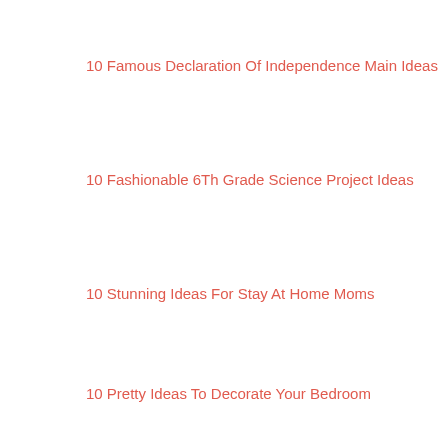10 Famous Declaration Of Independence Main Ideas
10 Fashionable 6Th Grade Science Project Ideas
10 Stunning Ideas For Stay At Home Moms
10 Pretty Ideas To Decorate Your Bedroom